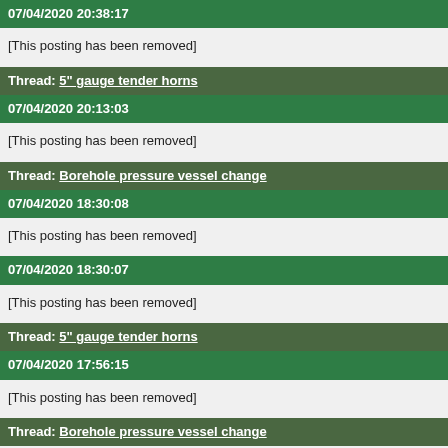07/04/2020 20:38:17
[This posting has been removed]
Thread: 5" gauge tender horns
07/04/2020 20:13:03
[This posting has been removed]
Thread: Borehole pressure vessel change
07/04/2020 18:30:08
[This posting has been removed]
07/04/2020 18:30:07
[This posting has been removed]
Thread: 5" gauge tender horns
07/04/2020 17:56:15
[This posting has been removed]
Thread: Borehole pressure vessel change